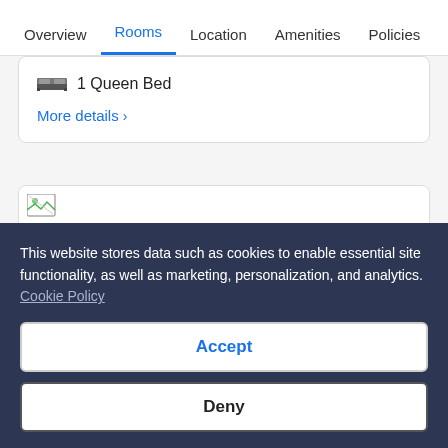Overview | Rooms | Location | Amenities | Policies | R
1 Queen Bed
More details >
[Figure (photo): Hotel room image placeholder (broken image icon shown)]
This website stores data such as cookies to enable essential site functionality, as well as marketing, personalization, and analytics. Cookie Policy
Accept
Deny